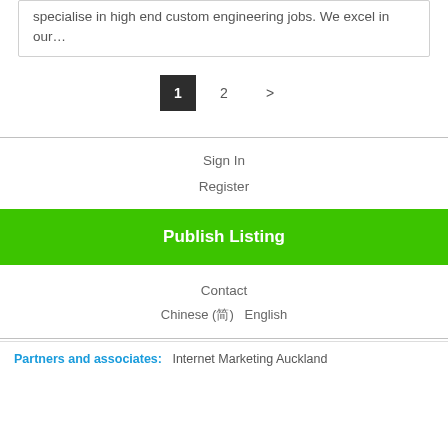specialise in high end custom engineering jobs. We excel in our…
1  2  >
Sign In
Register
Publish Listing
Contact
Chinese (简) English
Partners and associates: Internet Marketing Auckland